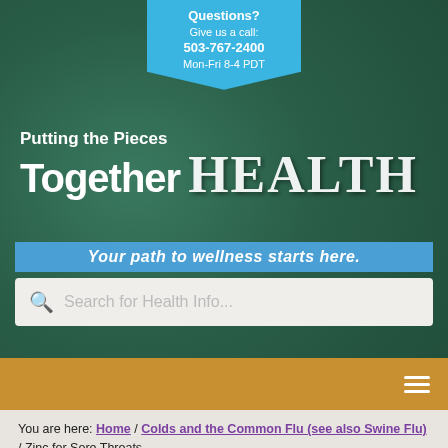Questions? Give us a call: 503-767-2400 Mon-Fri 8-4 PDT
Putting the Pieces Together HEALTH
Your path to wellness starts here.
Search for Health Info...
You are here: Home / Colds and the Common Flu (see also Swine Flu) / Zinc for Sore Throats